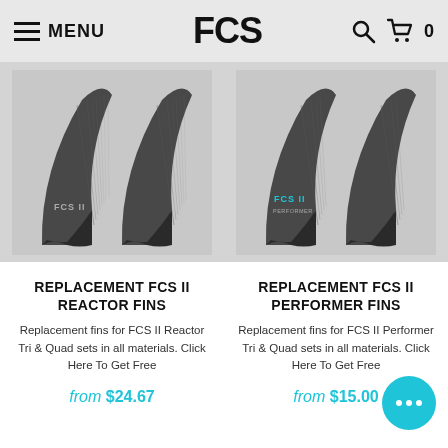MENU | FCS | 🔍 🛒 0
[Figure (photo): FCS II Reactor surfboard fins, dark carbon-fiber color, two fins shown from side angle on grey background]
REPLACEMENT FCS II REACTOR FINS
Replacement fins for FCS II Reactor Tri & Quad sets in all materials. Click Here To Get Free
from $24.67
[Figure (photo): FCS II Performer surfboard fins, dark carbon-fiber color with teal FCS II logo, two fins shown from side angle on grey background]
REPLACEMENT FCS II PERFORMER FINS
Replacement fins for FCS II Performer Tri & Quad sets in all materials. Click Here To Get Free
from $15.00